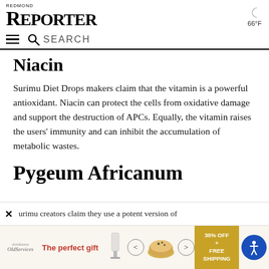REDMOND REPORTER — 66°F
Niacin
Surimu Diet Drops makers claim that the vitamin is a powerful antioxidant. Niacin can protect the cells from oxidative damage and support the destruction of APCs. Equally, the vitamin raises the users' immunity and can inhibit the accumulation of metabolic wastes.
Pygeum Africanum
urimu creators claim they use a potent version of
[Figure (advertisement): Ad banner for 'The perfect gift' with product image, navigation arrows, and 35% OFF + FREE SHIPPING promo badge, plus accessibility icon]